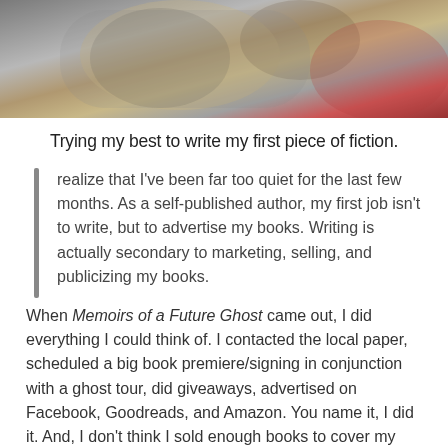[Figure (photo): Close-up photo of a metallic/mechanical object with blurred gold and red background elements]
Trying my best to write my first piece of fiction.
realize that I've been far too quiet for the last few months. As a self-published author, my first job isn't to write, but to advertise my books. Writing is actually secondary to marketing, selling, and publicizing my books. When Memoirs of a Future Ghost came out, I did everything I could think of. I contacted the local paper, scheduled a big book premiere/signing in conjunction with a ghost tour, did giveaways, advertised on Facebook, Goodreads, and Amazon. You name it, I did it. And, I don't think I sold enough books to cover my advertising costs. Granted, it's not about money, it's about the art of writing. But, I would be lying if I didn't put out there that a chunk of cash and/or notoriety would have been nice.